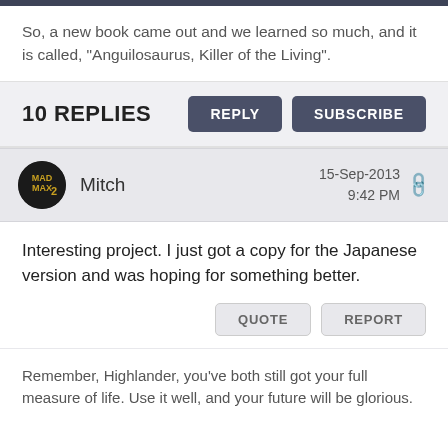So, a new book came out and we learned so much, and it is called, “Anguilosaurus, Killer of the Living”.
10 REPLIES
Mitch   15-Sep-2013  9:42 PM
Interesting project. I just got a copy for the Japanese version and was hoping for something better.
Remember, Highlander, you’ve both still got your full measure of life. Use it well, and your future will be glorious.